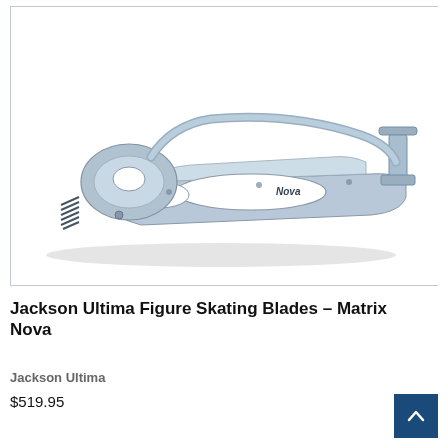[Figure (photo): A silver/metallic figure skating blade (Jackson Ultima Matrix Nova) shown from the side, with toe picks at the front left and a mounting bracket at the rear right. The blade has an open frame design with the word 'Nova' printed on it.]
Jackson Ultima Figure Skating Blades – Matrix Nova
Jackson Ultima
$519.95